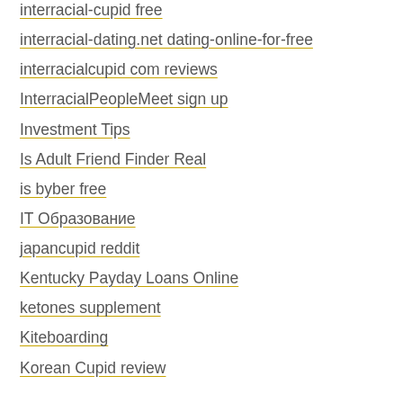interracial-cupid free
interracial-dating.net dating-online-for-free
interracialcupid com reviews
InterracialPeopleMeet sign up
Investment Tips
Is Adult Friend Finder Real
is byber free
IT Образование
japancupid reddit
Kentucky Payday Loans Online
ketones supplement
Kiteboarding
Korean Cupid review